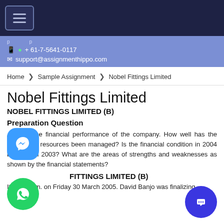Navigation bar with hamburger menu
+ 61-7-5641-0117 | support@assignmenthippo.com
Home > Sample Assignment > Nobel Fittings Limited
Nobel Fittings Limited
NOBEL FITTINGS LIMITED (B)
Preparation Question
Analyze the financial performance of the company. How well has the company's resources been managed? Is the financial condition in 2004 better than 2003? What are the areas of strengths and weaknesses as shown by the financial statements?
FITTINGS LIMITED (B)
It was 6p.m. on Friday 30 March 2005. David Banjo was finalizing